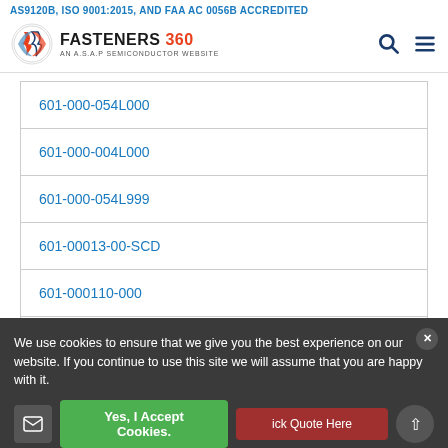AS9120B, ISO 9001:2015, AND FAA AC 0056B ACCREDITED
[Figure (logo): Fasteners 360 logo - AN ASAP SEMICONDUCTOR WEBSITE, with search and menu icons]
601-000-054L000
601-000-004L000
601-000-054L999
601-00013-00-SCD
601-000110-000
601 00004 14
We use cookies to ensure that we give you the best experience on our website. If you continue to use this site we will assume that you are happy with it.
Yes, I Accept Cookies.
ick Quote Here